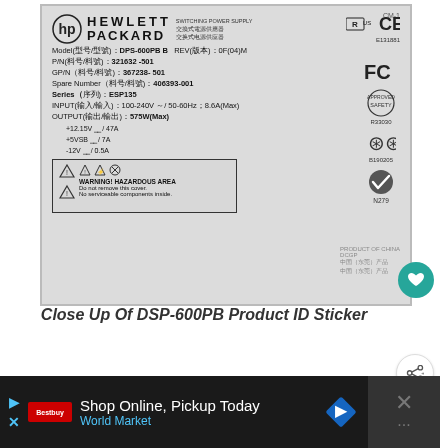[Figure (photo): Close-up photo of a Hewlett-Packard DPS-600PB B switching power supply product ID sticker label showing model number, part numbers, input/output specs, certifications (FCC, CE, CCC, UL), and a hazardous area warning box.]
Close Up Of DSP-600PB Product ID Sticker
WHAT'S NEXT → RC Power Supply Basics
Shop Online, Pickup Today World Market